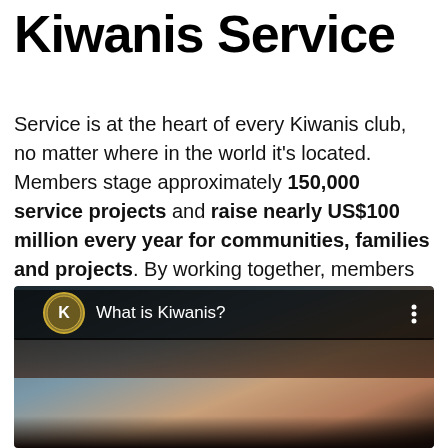Kiwanis Service
Service is at the heart of every Kiwanis club, no matter where in the world it's located. Members stage approximately 150,000 service projects and raise nearly US$100 million every year for communities, families and projects. By working together, members achieve what one person cannot accomplish alone.
[Figure (screenshot): Embedded video thumbnail showing a close-up of a person's face with curly hair, with a dark overlay header bar showing the Kiwanis International logo and the title 'What is Kiwanis?' with a three-dot menu icon.]